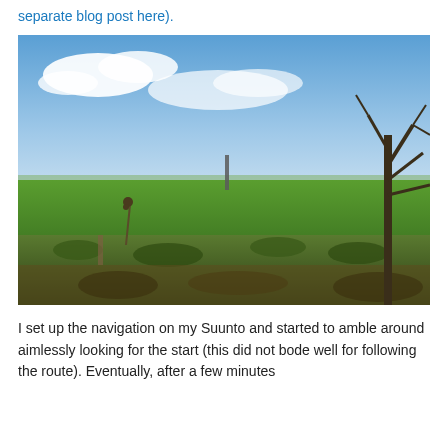separate blog post here).
[Figure (photo): Outdoor countryside photo showing a green field with low scrubby vegetation in the foreground, bare winter trees to the right, a distant monument or tower on the horizon, and a blue sky with white clouds above.]
I set up the navigation on my Suunto and started to amble around aimlessly looking for the start (this did not bode well for following the route). Eventually, after a few minutes